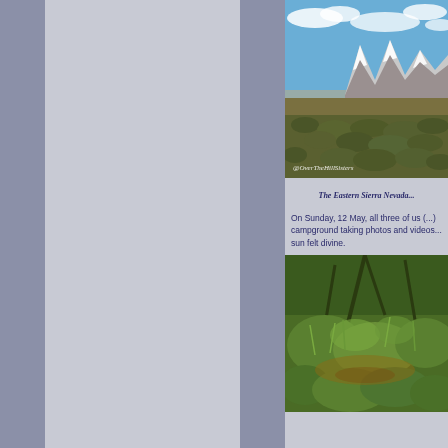[Figure (photo): Mountain landscape showing snow-capped Eastern Sierra Nevada peaks with blue sky, white clouds, and desert scrubland in the foreground. Watermark reads: @OverTheHillSisters]
The Eastern Sierra Nevada...
On Sunday, 12 May, all three of us (...) campground taking photos and videos... sun felt divine.
[Figure (photo): Close-up nature photo showing lush green vegetation, plants and branches near a stream or creek area]